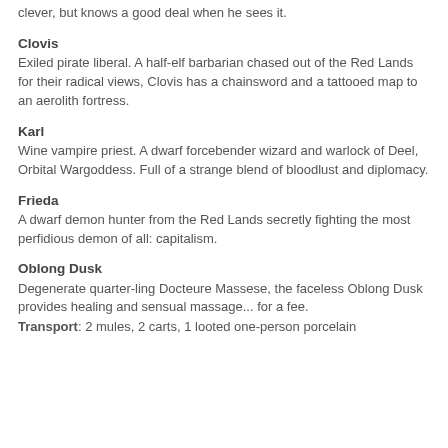clever, but knows a good deal when he sees it.
Clovis
Exiled pirate liberal. A half-elf barbarian chased out of the Red Lands for their radical views, Clovis has a chainsword and a tattooed map to an aerolith fortress.
Karl
Wine vampire priest. A dwarf forcebender wizard and warlock of Deel, Orbital Wargoddess. Full of a strange blend of bloodlust and diplomacy.
Frieda
A dwarf demon hunter from the Red Lands secretly fighting the most perfidious demon of all: capitalism.
Oblong Dusk
Degenerate quarter-ling Docteure Massese, the faceless Oblong Dusk provides healing and sensual massage... for a fee.
Transport: 2 mules, 2 carts, 1 looted one-person porcelain